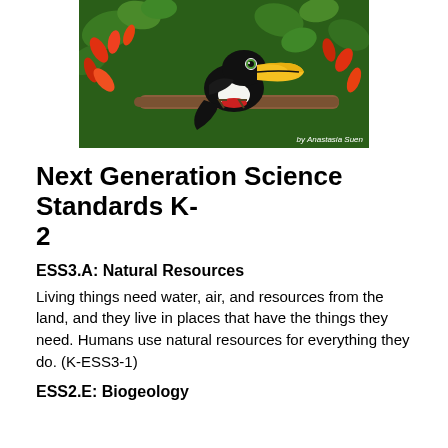[Figure (photo): A toucan bird perched on a branch among colorful red and orange flowers and green foliage, with photo credit 'by Anastasia Suen' in bottom right corner.]
Next Generation Science Standards K-2
ESS3.A: Natural Resources
Living things need water, air, and resources from the land, and they live in places that have the things they need. Humans use natural resources for everything they do. (K-ESS3-1)
ESS2.E: Biogeology